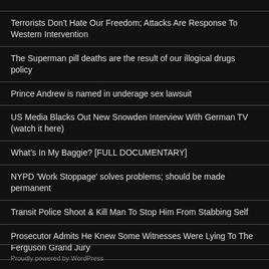Terrorists Don't Hate Our Freedom; Attacks Are Response To Western Intervention
The Superman pill deaths are the result of our illogical drugs policy
Prince Andrew is named in underage sex lawsuit
US Media Blacks Out New Snowden Interview With German TV (watch it here)
What's In My Baggie? [FULL DOCUMENTARY]
NYPD 'Work Stoppage' solves problems; should be made permanent
Transit Police Shoot & Kill Man To Stop Him From Stabbing Self
Prosecutor Admits He Knew Some Witnesses Were Lying To The Ferguson Grand Jury
Proudly powered by WordPress